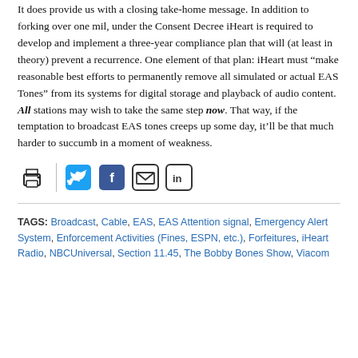It does provide us with a closing take-home message. In addition to forking over one mil, under the Consent Decree iHeart is required to develop and implement a three-year compliance plan that will (at least in theory) prevent a recurrence. One element of that plan: iHeart must “make reasonable best efforts to permanently remove all simulated or actual EAS Tones” from its systems for digital storage and playback of audio content. All stations may wish to take the same step now. That way, if the temptation to broadcast EAS tones creeps up some day, it’ll be that much harder to succumb in a moment of weakness.
[Figure (other): Social sharing icons: print, Twitter, Facebook, email, LinkedIn]
TAGS: Broadcast, Cable, EAS, EAS Attention signal, Emergency Alert System, Enforcement Activities (Fines, ESPN, etc.), Forfeitures, iHeart Radio, NBCUniversal, Section 11.45, The Bobby Bones Show, Viacom